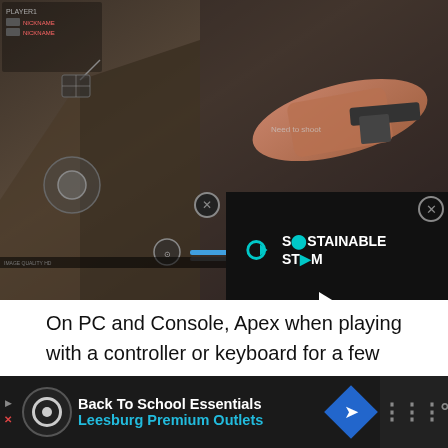[Figure (screenshot): Gameplay screenshot of a first-person shooter game (Apex Legends mobile) showing game HUD elements, health bars, player icons, and an overlaid video player for 'Sustainable Stream' with a play button and progress bar]
On PC and Console, Apex when playing with a controller or keyboard for a few hours. On Touchscreen however, when you have to tap multiple precise locations at the same time whilst being able to see is a whole different experience. That's why developers try to simplify the experience of FPS games by making certain actions automatic.
[Figure (screenshot): Advertisement banner: Back To School Essentials - Leesburg Premium Outlets, with navigation arrow icon and brand logo on right]